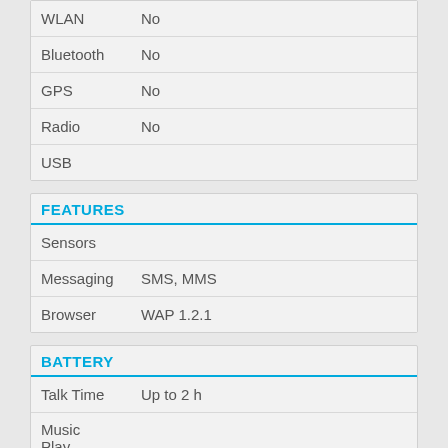| Feature | Value |
| --- | --- |
| WLAN | No |
| Bluetooth | No |
| GPS | No |
| Radio | No |
| USB |  |
FEATURES
| Feature | Value |
| --- | --- |
| Sensors |  |
| Messaging | SMS, MMS |
| Browser | WAP 1.2.1 |
BATTERY
| Feature | Value |
| --- | --- |
| Talk Time | Up to 2 h |
| Music Play |  |
| Browser | WAP 1.2.1 |
MISC